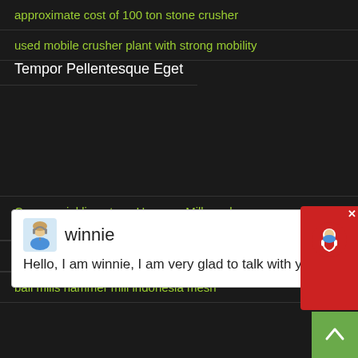approximate cost of 100 ton stone crusher
used mobile crusher plant with strong mobility
Tempor Pellentesque Eget
[Figure (screenshot): Chat popup with avatar of 'winnie' and message: Hello, I am winnie, I am very glad to talk with you!]
Commercial limestone Hammer Mill crusher Hammer Mill crusher Feed - Search
Search - magnetic separators matrix
ball mills hammer mill indonesia mesh